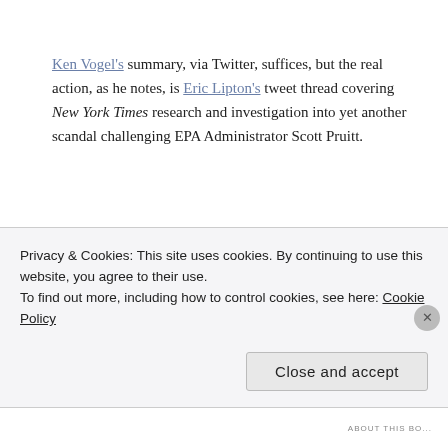Ken Vogel's summary, via Twitter, suffices, but the real action, as he notes, is Eric Lipton's tweet thread covering New York Times research and investigation into yet another scandal challenging EPA Administrator Scott Pruitt.
Image notes: Top — Tweet by Kenneth P. Vogel, 10 May 2018. Right — Environmental Protection Agency Administrator Scott Pruitt speaks during a hearing of the House Energy and Commerce Subcommittee on Environment, on Capitol
Privacy & Cookies: This site uses cookies. By continuing to use this website, you agree to their use.
To find out more, including how to control cookies, see here: Cookie Policy
Close and accept